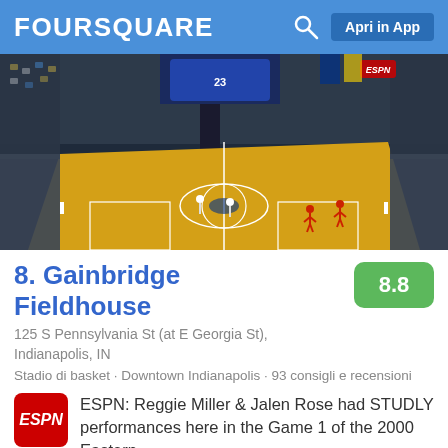FOURSQUARE   Apri in App
[Figure (photo): Aerial view of a packed indoor basketball arena with a yellow court, players on the floor, and a full crowd surrounding the stands. Scoreboard visible overhead.]
8. Gainbridge Fieldhouse
125 S Pennsylvania St (at E Georgia St), Indianapolis, IN
Stadio di basket · Downtown Indianapolis · 93 consigli e recensioni
ESPN: Reggie Miller & Jalen Rose had STUDLY performances here in the Game 1 of the 2000 Eastern